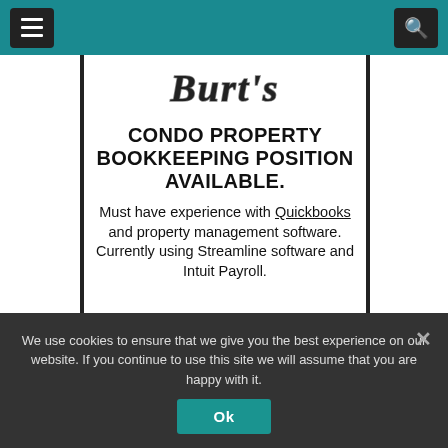Navigation bar with menu and search buttons
[Figure (logo): Cursive/script logo text in bold stylized font]
CONDO PROPERTY BOOKKEEPING POSITION AVAILABLE.
Must have experience with Quickbooks and property management software. Currently using Streamline software and Intuit Payroll.
We use cookies to ensure that we give you the best experience on our website. If you continue to use this site we will assume that you are happy with it.